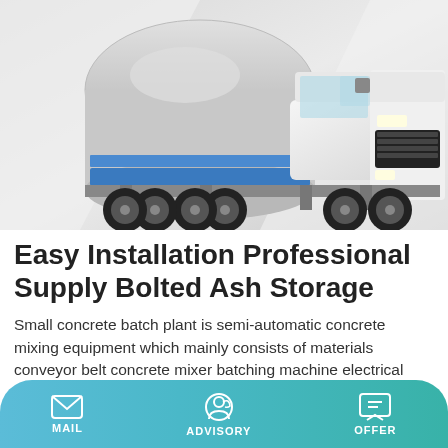[Figure (photo): White concrete mixer truck (cement truck) on a light grey abstract background, viewed from the front-left side angle.]
Easy Installation Professional Supply Bolted Ash Storage
Small concrete batch plant is semi-automatic concrete mixing equipment which mainly consists of materials conveyor belt concrete mixer batching machine electrical control system and steel structure components.And the main type is HZS25 HZS35 HZS60 whose concrete mixer belongs to compulsory twin shaft concrete mixer especially JS750 and JS1000.
MAIL   ADVISORY   OFFER